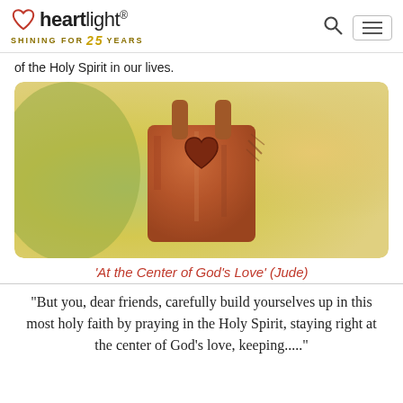heartlight® SHINING FOR 25 YEARS
of the Holy Spirit in our lives.
[Figure (photo): Close-up photo of a rusty metal padlock or pendant with a heart shape engraved on its face, against a blurred green and warm bokeh background.]
'At the Center of God's Love' (Jude)
"But you, dear friends, carefully build yourselves up in this most holy faith by praying in the Holy Spirit, staying right at the center of God's love, keeping...."